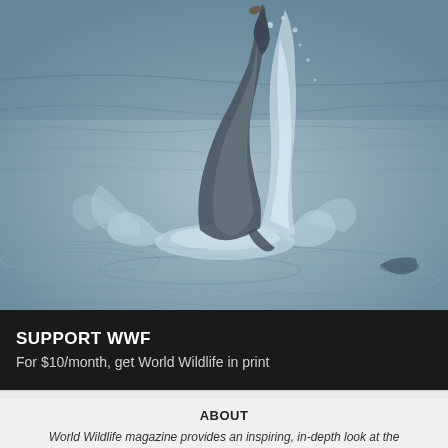[Figure (photo): A dolphin leaping out of the water with a splash around it, photographed on a rippled water surface]
SUPPORT WWF
For $10/month, get World Wildlife in print
ABOUT
World Wildlife magazine provides an inspiring, in-depth look at the